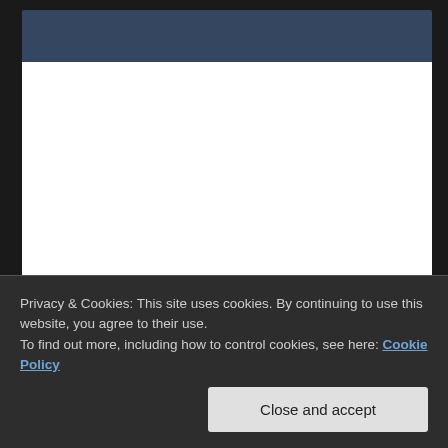[Figure (screenshot): Partially visible website header with dark blue/slate navigation bar and white content area below it]
Get Results
Travel To Thailand – Thailand Cities And Attractions
Privacy & Cookies: This site uses cookies. By continuing to use this website, you agree to their use.
To find out more, including how to control cookies, see here: Cookie Policy
Close and accept